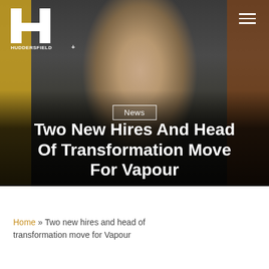[Figure (photo): Hero image of a smiling woman with long brown hair wearing a polka dot blouse, seated in front of a dark sofa. Yellow pillar visible on left, brick wall on right. Huddersfield+ logo top left, hamburger menu top right. News badge overlay in center, dark gradient at bottom with article headline.]
Two New Hires And Head Of Transformation Move For Vapour
Home » Two new hires and head of transformation move for Vapour